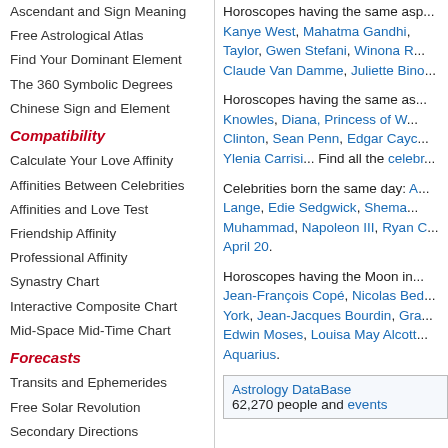Ascendant and Sign Meaning
Free Astrological Atlas
Find Your Dominant Element
The 360 Symbolic Degrees
Chinese Sign and Element
Compatibility
Calculate Your Love Affinity
Affinities Between Celebrities
Affinities and Love Test
Friendship Affinity
Professional Affinity
Synastry Chart
Interactive Composite Chart
Mid-Space Mid-Time Chart
Forecasts
Transits and Ephemerides
Free Solar Revolution
Secondary Directions
Horoscopes having the same asp... Kanye West, Mahatma Gandhi, Taylor, Gwen Stefani, Winona R... Claude Van Damme, Juliette Bino...
Horoscopes having the same as... Knowles, Diana, Princess of W... Clinton, Sean Penn, Edgar Cayc... Ylenia Carrisi... Find all the celebr...
Celebrities born the same day: A... Lange, Edie Sedgwick, Shema... Muhammad, Napoleon III, Ryan C... April 20.
Horoscopes having the Moon in... Jean-François Copé, Nicolas Bed... York, Jean-Jacques Bourdin, Gra... Edwin Moses, Louisa May Alcott... Aquarius.
| Astrology DataBase |  |
| --- | --- |
| 62,270 people and events |  |